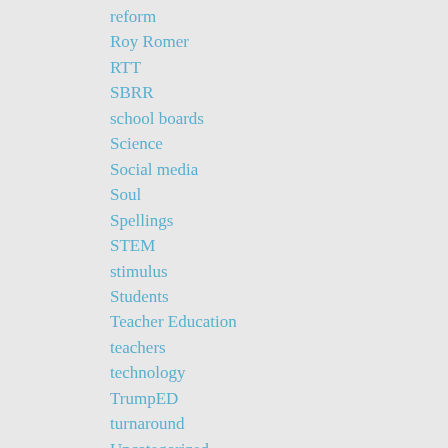reform
Roy Romer
RTT
SBRR
school boards
Science
Social media
Soul
Spellings
STEM
stimulus
Students
Teacher Education
teachers
technology
TrumpED
turnaround
Uncategorized
vouchers
Woodrow Wilson